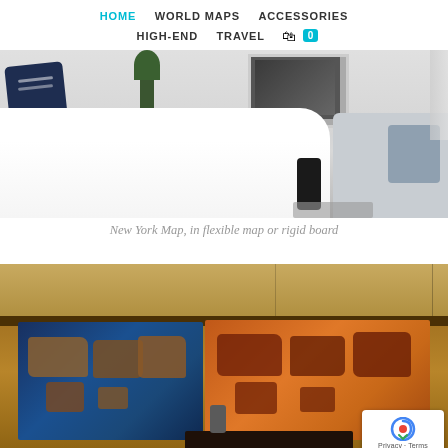HOME  WORLD MAPS  ACCESSORIES  HIGH-END  TRAVEL  🛍 0
[Figure (photo): Bedroom interior with white bedding, dark decorative pillow, plant, framed city map on wall, and grey sofa with device on floor]
New York Map, in flexible map or rigid board
[Figure (photo): Two large world maps on display in a room with wood paneling — one with blue ocean background (left) and one with orange/rust tones (right). A reCAPTCHA badge is visible in the bottom-right corner with 'Privacy · Terms' text.]